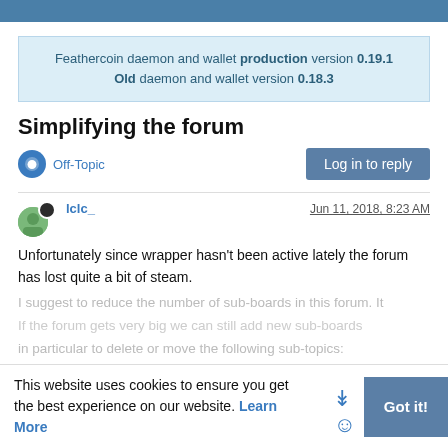Feathercoin daemon and wallet production version 0.19.1 Old daemon and wallet version 0.18.3
Simplifying the forum
Off-Topic
Log in to reply
lclc_
Jun 11, 2018, 8:23 AM
Unfortunately since wrapper hasn't been active lately the forum has lost quite a bit of steam.
I suggest to reduce the number of sub-boards in this forum. It
If the forum gets very big we can still add new sub-boards
in particular to delete or move the following sub-topics:
This website uses cookies to ensure you get the best experience on our website. Learn More
Got it!